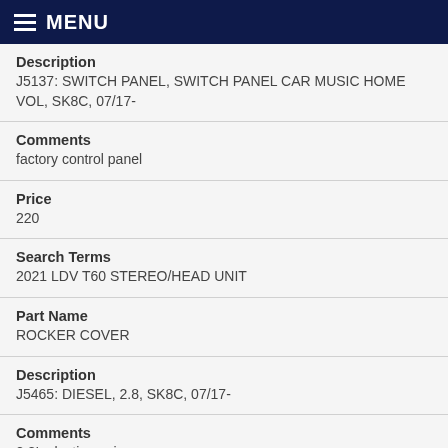MENU
Description
J5137: SWITCH PANEL, SWITCH PANEL CAR MUSIC HOME VOL, SK8C, 07/17-
Comments
factory control panel
Price
220
Search Terms
2021 LDV T60 STEREO/HEAD UNIT
Part Name
ROCKER COVER
Description
J5465: DIESEL, 2.8, SK8C, 07/17-
Comments
2.8L plastic engine cover
Price
65